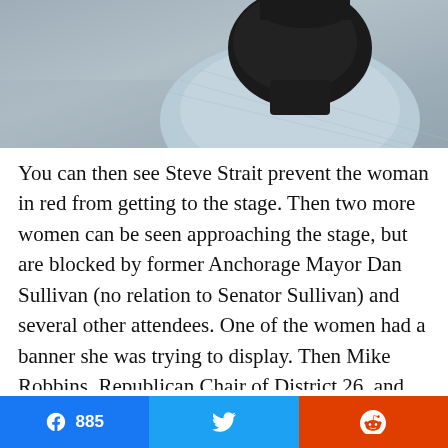[Figure (photo): Close-up photo of a person wearing a black balaclava/face covering and a light blue/grey textured shirt or jacket, photographed from behind/side angle. Background appears to be a grey pavement or outdoor surface.]
You can then see Steve Strait prevent the woman in red from getting to the stage. Then two more women can be seen approaching the stage, but are blocked by former Anchorage Mayor Dan Sullivan (no relation to Senator Sullivan) and several other attendees. One of the women had a banner she was trying to display. Then Mike Robbins, Republican Chair of District 26, and Shuckerow can be seen
[Figure (infographic): Social sharing bar with three buttons: Facebook (blue, showing count 885), Twitter (light blue, bird icon), Reddit (orange-red, alien icon)]